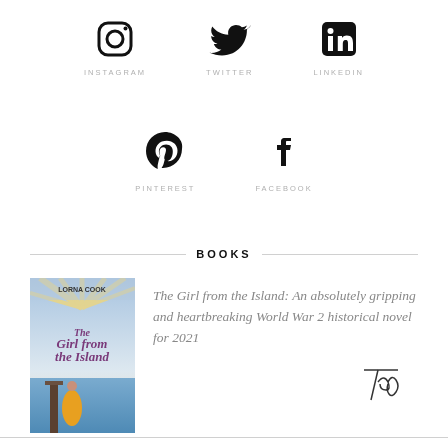[Figure (infographic): Social media icons row 1: Instagram, Twitter, LinkedIn icons with labels below]
[Figure (infographic): Social media icons row 2: Pinterest, Facebook icons with labels below]
BOOKS
[Figure (photo): Book cover of 'The Girl from the Island' by Lorna Cook]
The Girl from the Island: An absolutely gripping and heartbreaking World War 2 historical novel for 2021
[Figure (illustration): Handwritten 'Top' signature/link]